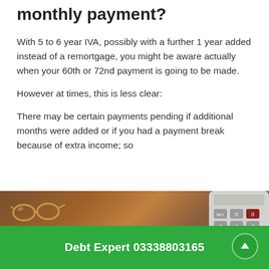monthly payment?
With 5 to 6 year IVA, possibly with a further 1 year added instead of a remortgage, you might be aware actually when your 60th or 72nd payment is going to be made.
However at times, this is less clear:
There may be certain payments pending if additional months were added or if you had a payment break because of extra income; so
[Figure (photo): Photo of a wooden desk surface with glasses and a calculator visible]
Debt Expert 03338803165